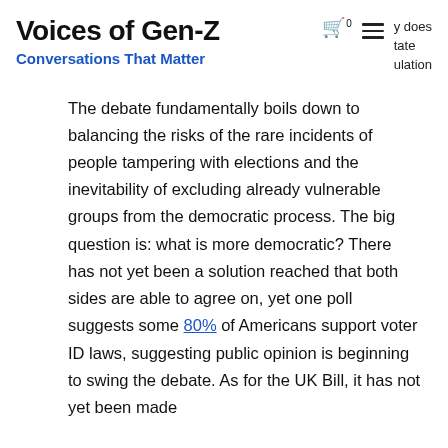Voices of Gen-Z — Conversations That Matter
The debate fundamentally boils down to balancing the risks of the rare incidents of people tampering with elections and the inevitability of excluding already vulnerable groups from the democratic process. The big question is: what is more democratic? There has not yet been a solution reached that both sides are able to agree on, yet one poll suggests some 80% of Americans support voter ID laws, suggesting public opinion is beginning to swing the debate. As for the UK Bill, it has not yet been made